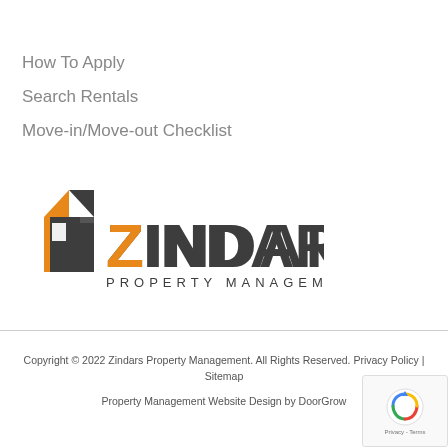How To Apply
Search Rentals
Move-in/Move-out Checklist
[Figure (logo): Zindars Property Management logo with house icon and orange/dark gray color scheme]
Copyright © 2022 Zindars Property Management. All Rights Reserved. Privacy Policy | Sitemap
Property Management Website Design by DoorGrow